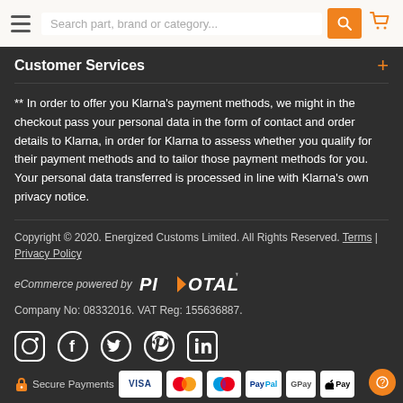Search part, brand or category...
Customer Services
** In order to offer you Klarna's payment methods, we might in the checkout pass your personal data in the form of contact and order details to Klarna, in order for Klarna to assess whether you qualify for their payment methods and to tailor those payment methods for you. Your personal data transferred is processed in line with Klarna's own privacy notice.
Copyright © 2020. Energized Customs Limited. All Rights Reserved. Terms | Privacy Policy
eCommerce powered by PIVOTAL
Company No: 08332016. VAT Reg: 155636887.
[Figure (infographic): Social media icons: Instagram, Facebook, Twitter, Pinterest, LinkedIn]
[Figure (infographic): Secure Payments icons: padlock icon, VISA, Mastercard, Maestro, PayPal, Google Pay, Apple Pay]